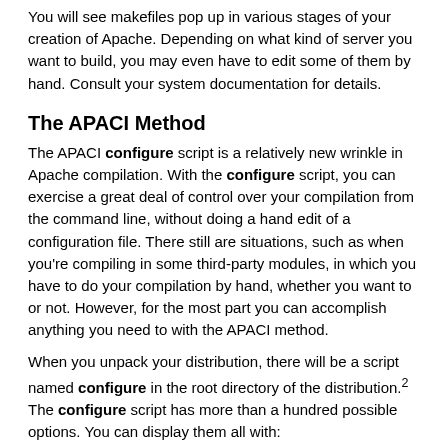You will see makefiles pop up in various stages of your creation of Apache. Depending on what kind of server you want to build, you may even have to edit some of them by hand. Consult your system documentation for details.
The APACI Method
The APACI configure script is a relatively new wrinkle in Apache compilation. With the configure script, you can exercise a great deal of control over your compilation from the command line, without doing a hand edit of a configuration file. There still are situations, such as when you're compiling in some third-party modules, in which you have to do your compilation by hand, whether you want to or not. However, for the most part you can accomplish anything you need to with the APACI method.
When you unpack your distribution, there will be a script named configure in the root directory of the distribution.2 The configure script has more than a hundred possible options. You can display them all with:
./configure --help